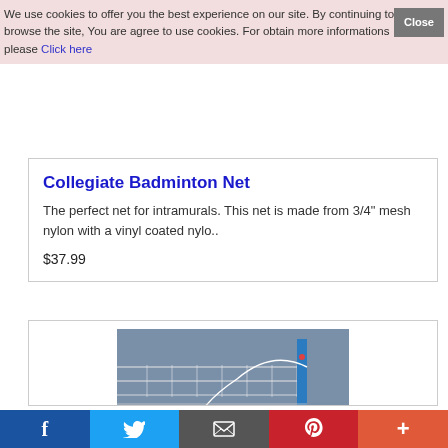We use cookies to offer you the best experience on our site. By continuing to browse the site, You are agree to use cookies. For obtain more informations please Click here
Collegiate Badminton Net
The perfect net for intramurals. This net is made from 3/4" mesh nylon with a vinyl coated nylo..
$37.99
[Figure (photo): Photo of a badminton net attached to a blue pole against a blue-grey background]
f (Facebook) | Twitter bird | Email/envelope | Pinterest P | Plus (+)